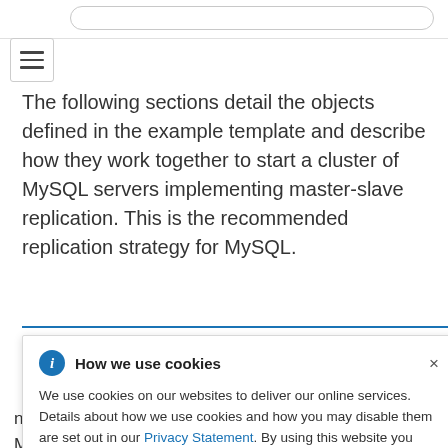[Figure (screenshot): Top navigation bar with search input and hamburger menu icon]
The following sections detail the objects defined in the example template and describe how they work together to start a cluster of MySQL servers implementing master-slave replication. This is the recommended replication strategy for MySQL.
[Figure (screenshot): Cookie consent popup overlay with title 'How we use cookies', body text explaining cookie usage, a link to Privacy Statement, and a close X button]
needed. One deployment configuration defines the MySQL...